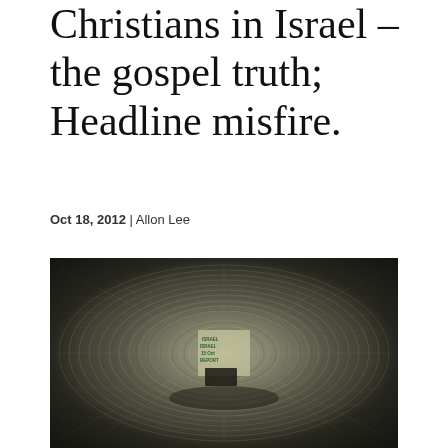Christians in Israel — the gospel truth; Headline misfire.
Oct 18, 2012 | Allon Lee
[Figure (photo): A black and white swirling/spin-blur photograph of a newspaper or document with text visible in the center, surrounded by radial motion blur creating a vortex-like circular pattern.]